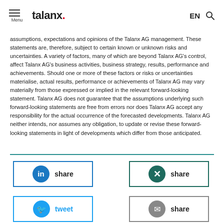talanx. Menu EN
assumptions, expectations and opinions of the Talanx AG management. These statements are, therefore, subject to certain known or unknown risks and uncertainties. A variety of factors, many of which are beyond Talanx AG's control, affect Talanx AG's business activities, business strategy, results, performance and achievements. Should one or more of these factors or risks or uncertainties materialise, actual results, performance or achievements of Talanx AG may vary materially from those expressed or implied in the relevant forward-looking statement. Talanx AG does not guarantee that the assumptions underlying such forward-looking statements are free from errors nor does Talanx AG accept any responsibility for the actual occurrence of the forecasted developments. Talanx AG neither intends, nor assumes any obligation, to update or revise these forward-looking statements in light of developments which differ from those anticipated.
[Figure (other): LinkedIn share button]
[Figure (other): XING share button]
[Figure (other): Twitter tweet button]
[Figure (other): Email share button]